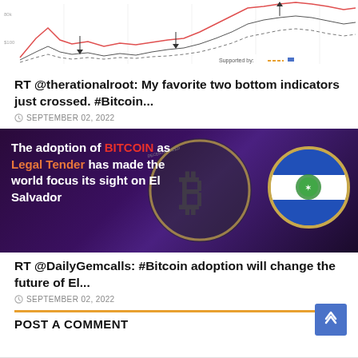[Figure (continuous-plot): Bitcoin price chart showing two bottom indicators crossing, with 'Supported by:' label visible in lower right of chart area]
RT @therationalroot: My favorite two bottom indicators just crossed. #Bitcoin...
SEPTEMBER 02, 2022
[Figure (photo): Dark purple background image showing text 'The adoption of BITCOIN as Legal Tender has made the world focus its sight on El Salvador' with a Bitcoin coin and El Salvador flag circle on the right]
RT @DailyGemcalls: #Bitcoin adoption will change the future of El...
SEPTEMBER 02, 2022
POST A COMMENT